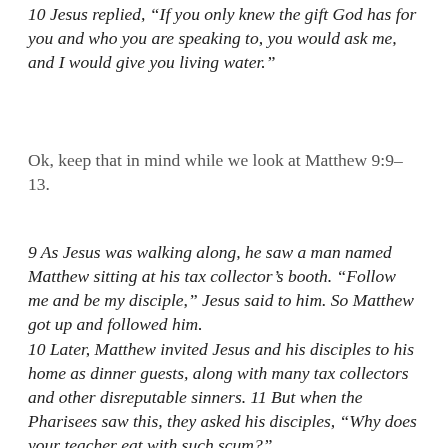10 Jesus replied, “If you only knew the gift God has for you and who you are speaking to, you would ask me, and I would give you living water.”
Ok, keep that in mind while we look at Matthew 9:9-13.
9 As Jesus was walking along, he saw a man named Matthew sitting at his tax collector’s booth. “Follow me and be my disciple,” Jesus said to him. So Matthew got up and followed him. 10 Later, Matthew invited Jesus and his disciples to his home as dinner guests, along with many tax collectors and other disreputable sinners. 11 But when the Pharisees saw this, they asked his disciples, “Why does your teacher eat with such scum?” 12 When Jesus heard this, he said, “Healthy people don’t need a doctor—sick people do.” 13 Then he